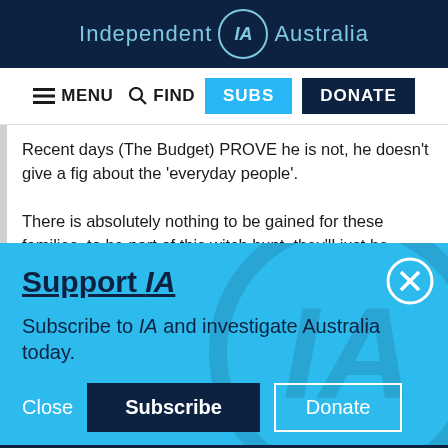Independent IA Australia
[Figure (screenshot): Navigation bar with menu, find, subs, and donate buttons]
Recent days (The Budget) PROVE he is not, he doesn't give a fig about the 'everyday people'.
There is absolutely nothing to be gained for these families, to be part of this witch hunt, they'll just be
Support IA
Subscribe to IA and investigate Australia today.
Social icons: Twitter, Facebook, LinkedIn, Flipboard, Link, Plus